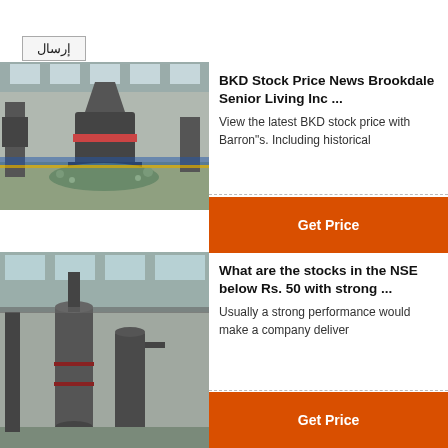إرسال
[Figure (photo): Industrial factory interior with heavy machinery, a cone crusher or similar equipment surrounded by gravel]
BKD Stock Price News Brookdale Senior Living Inc ...
View the latest BKD stock price with Barron"s. Including historical
Get Price
[Figure (photo): Industrial factory interior with tall cylindrical machinery and equipment]
What are the stocks in the NSE below Rs. 50 with strong ...
Usually a strong performance would make a company deliver
Get Price